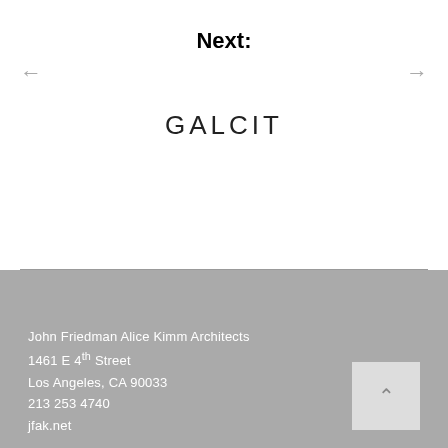Next:
GALCIT
John Friedman Alice Kimm Architects
1461 E 4th Street
Los Angeles, CA 90033
213 253 4740
jfak.net